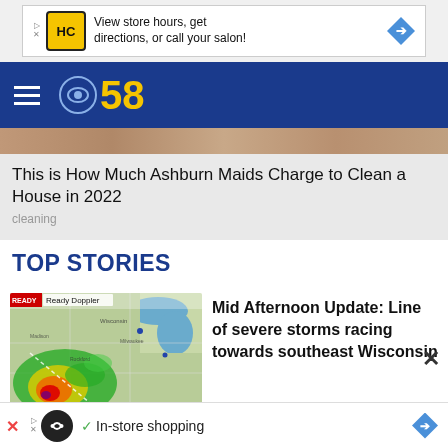[Figure (screenshot): Advertisement banner: HC logo, text 'View store hours, get directions, or call your salon!', blue diamond arrow icon]
[Figure (logo): CBS 58 navigation bar with hamburger menu and CBS eye logo with '58' in gold]
[Figure (screenshot): Promotional card image strip showing partial photo]
This is How Much Ashburn Maids Charge to Clean a House in 2022
cleaning
TOP STORIES
[Figure (map): Ready Doppler radar map showing severe storm system over Wisconsin region with red/yellow/green precipitation bands]
Mid Afternoon Update: Line of severe storms racing towards southeast Wisconsin
[Figure (screenshot): Bottom advertisement: infinity logo icon, checkmark, 'In-store shopping' text, blue diamond arrow]